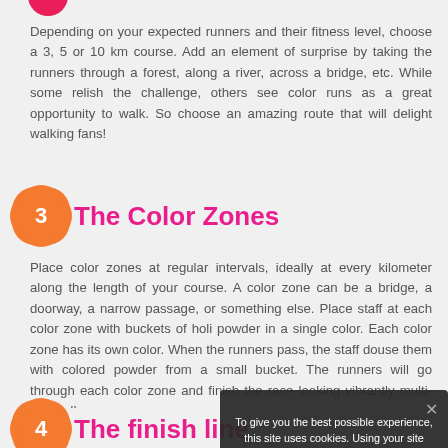Depending on your expected runners and their fitness level, choose a 3, 5 or 10 km course. Add an element of surprise by taking the runners through a forest, along a river, across a bridge, etc. While some relish the challenge, others see color runs as a great opportunity to walk. So choose an amazing route that will delight walking fans!
3 The Color Zones
Place color zones at regular intervals, ideally at every kilometer along the length of your course. A color zone can be a bridge, a doorway, a narrow passage, or something else. Place staff at each color zone with buckets of holi powder in a single color. Each color zone has its own color. When the runners pass, the staff douse them with colored powder from a small bucket. The runners will go through each color zone and finish the race looking vibrantly multi-colored!
4 The finish line